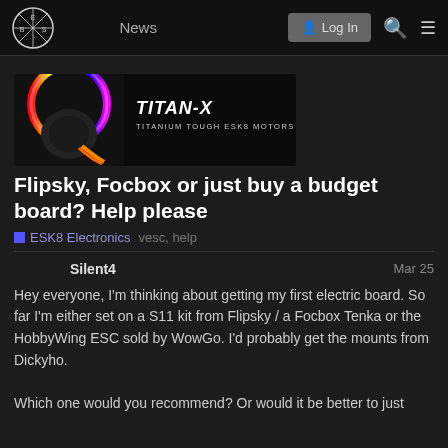EBS News | Log In
[Figure (illustration): TITAN-X Titanium Tough ESKB Motors advertisement banner with a motor image and text logo]
Flipsky, Focbox or just buy a budget board? Help please
ESK8 Electronics   vesc, help
Silent4    Mar 25
Hey everyone, I'm thinking about getting my first electric board. So far I'm either set on a S11 kit from Flipsky / a Focbox Tenka or the HobbyWing ESC sold by WowGo. I'd probably get the mounts from Dickyho.

Which one would you recommend? Or would it be better to just